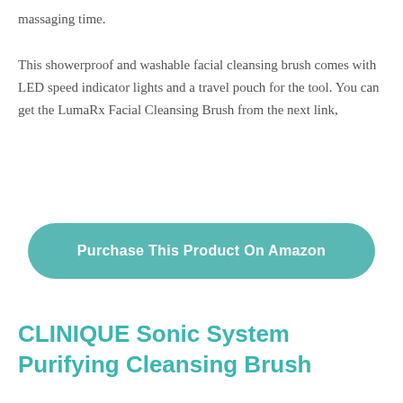massaging time.
This showerproof and washable facial cleansing brush comes with LED speed indicator lights and a travel pouch for the tool. You can get the LumaRx Facial Cleansing Brush from the next link,
[Figure (other): Teal rounded button with text 'Purchase This Product On Amazon']
CLINIQUE Sonic System Purifying Cleansing Brush